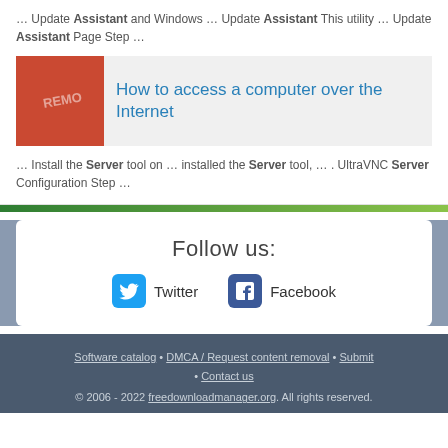… Update Assistant and Windows … Update Assistant This utility … Update Assistant Page Step …
[Figure (screenshot): Card with red/orange image thumbnail on left and article title on right reading 'How to access a computer over the Internet']
How to access a computer over the Internet
… Install the Server tool on … installed the Server tool, … . UltraVNC Server Configuration Step …
Follow us:
Twitter   Facebook
Software catalog • DMCA / Request content removal • Submit • Contact us
© 2006 - 2022 freedownloadmanager.org. All rights reserved.